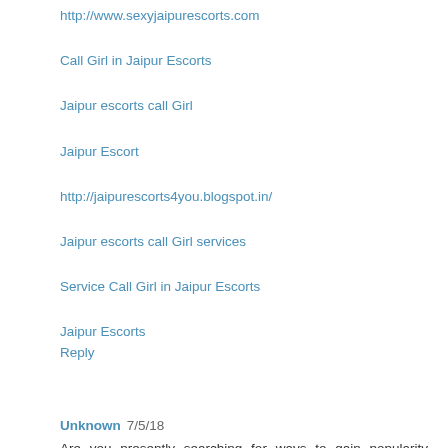http://www.sexyjaipurescorts.com
Call Girl in Jaipur Escorts
Jaipur escorts call Girl
Jaipur Escort
http://jaipurescorts4you.blogspot.in/
Jaipur escorts call Girl services
Service Call Girl in Jaipur Escorts
Jaipur Escorts
Reply
Unknown 7/5/18
Are you presently searching for ways to gain popularity quickly? You only require to Buy Facebook Followers to get